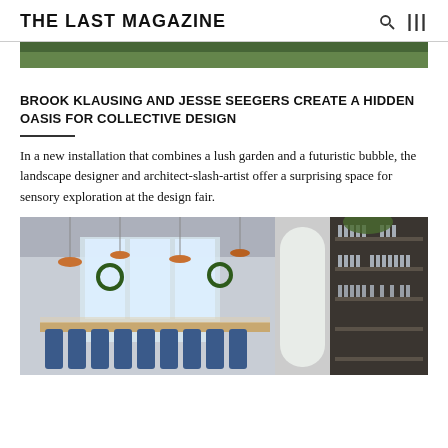THE LAST MAGAZINE
[Figure (photo): Top partial photo showing greenery and trees, cropped at top of page]
BROOK KLAUSING AND JESSE SEEGERS CREATE A HIDDEN OASIS FOR COLLECTIVE DESIGN
In a new installation that combines a lush garden and a futuristic bubble, the landscape designer and architect-slash-artist offer a surprising space for sensory exploration at the design fair.
[Figure (photo): Interior restaurant or event space photo showing long dining tables with blue chairs, pendant copper lights, high ceilings, large windows, greenery wreaths, and a dark wooden shelving unit with glassware on the right side]